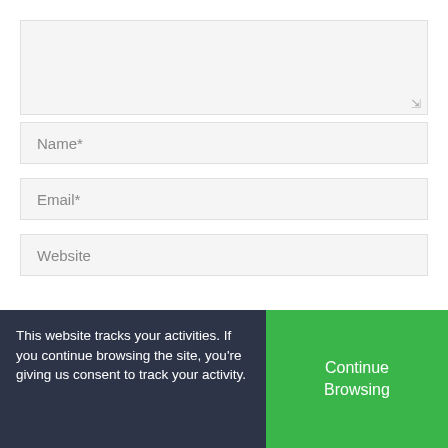[Figure (screenshot): A textarea input field with a light gray background and a resize handle icon at the bottom right corner.]
[Figure (screenshot): A text input field labeled 'Name*' with a light gray background.]
[Figure (screenshot): A text input field labeled 'Email*' with a light gray background.]
[Figure (screenshot): A text input field labeled 'Website' with a light gray background.]
[Figure (screenshot): A dark olive green 'Post Comment' button positioned on the right side.]
This website tracks your activities. If you continue browsing the site, you're giving us consent to track your activity.
[Figure (screenshot): A green 'Continue Browsing' button on the right side of the cookie consent bar.]